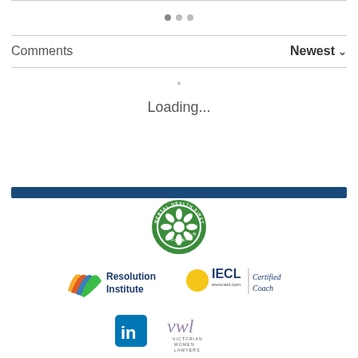Comments
Newest ∨
Loading...
[Figure (logo): Mental Health First Aider Accredited circular badge with green border and white flower design]
[Figure (logo): Resolution Institute logo with colorful wing/ribbon graphic]
[Figure (logo): IECL Certified Coach logo with yellow circle and www.iecl.com text]
[Figure (logo): LinkedIn logo blue square with 'in']
[Figure (logo): VWL Victorian Women Lawyers logo in purple cursive]